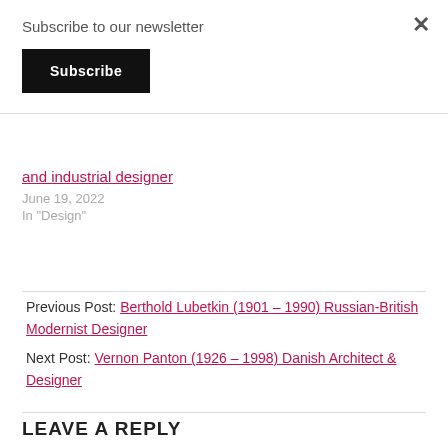Subscribe to our newsletter
Subscribe
and industrial designer
June 19, 2022
In "Design"
Previous Post: Berthold Lubetkin (1901 – 1990) Russian-British Modernist Designer
Next Post: Vernon Panton (1926 – 1998) Danish Architect & Designer
LEAVE A REPLY